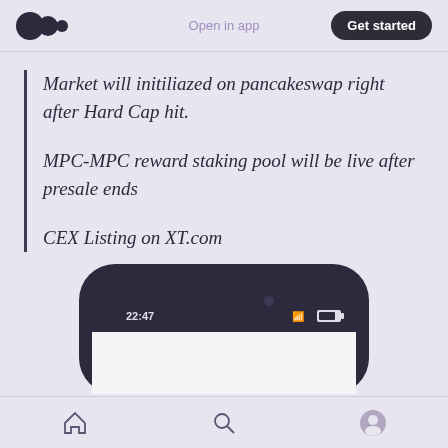Open in app | Get started
Market will initiliazed on pancakeswap right after Hard Cap hit.
MPC-MPC reward staking pool will be live after presale ends
CEX Listing on XT.com
[Figure (screenshot): Partial view of a smartphone screen showing status bar with time 22:47, WiFi and battery icons on dark-colored device frame]
Home | Search | Profile